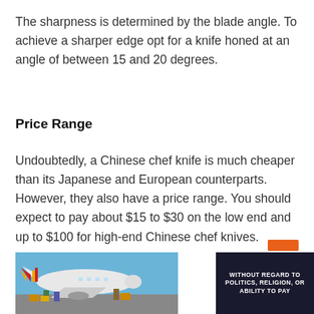The sharpness is determined by the blade angle. To achieve a sharper edge opt for a knife honed at an angle of between 15 and 20 degrees.
Price Range
Undoubtedly, a Chinese chef knife is much cheaper than its Japanese and European counterparts. However, they also have a price range. You should expect to pay about $15 to $30 on the low end and up to $100 for high-end Chinese chef knives.
[Figure (photo): Advertisement banner showing a cargo airplane being loaded, with a dark panel reading 'WITHOUT REGARD TO POLITICS, RELIGION, OR ABILITY TO PAY']